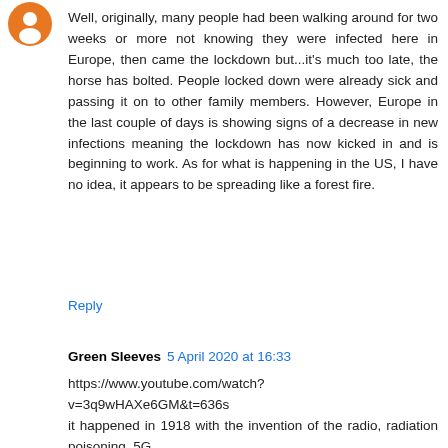[Figure (other): Orange circle avatar icon with person silhouette]
Well, originally, many people had been walking around for two weeks or more not knowing they were infected here in Europe, then came the lockdown but...it's much too late, the horse has bolted. People locked down were already sick and passing it on to other family members. However, Europe in the last couple of days is showing signs of a decrease in new infections meaning the lockdown has now kicked in and is beginning to work. As for what is happening in the US, I have no idea, it appears to be spreading like a forest fire.
Reply
Green Sleeves  5 April 2020 at 16:33
https://www.youtube.com/watch?v=3q9wHAXe6GM&t=636s
it happened in 1918 with the invention of the radio, radiation poisoning. 5G
give me liberty or give me death, if we give up freedom for security, we deserve neither. more or less we are saying give us more security, and giving up our freedom. now